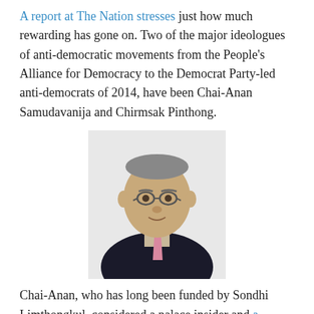A report at The Nation stresses just how much rewarding has gone on. Two of the major ideologues of anti-democratic movements from the People's Alliance for Democracy to the Democrat Party-led anti-democrats of 2014, have been Chai-Anan Samudavanija and Chirmsak Pinthong.
[Figure (photo): Portrait photo of an elderly Asian man in a dark suit with a pink tie and glasses, on a white background.]
Chai-Anan, who has long been funded by Sondhi Limthongkul, considered a palace insider and a staunch monarchist, is reportedly "among the leading candidates